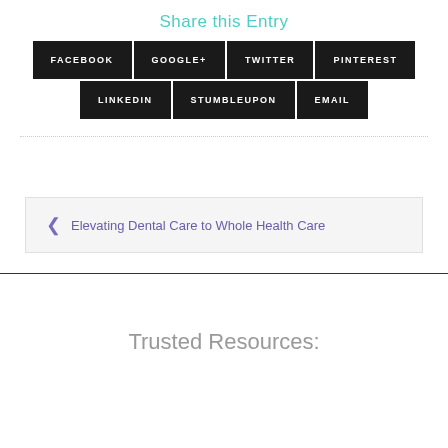Share this Entry
FACEBOOK | GOOGLE+ | TWITTER | PINTEREST | LINKEDIN | STUMBLEUPON | EMAIL
Elevating Dental Care to Whole Health Care
Trusted Resources: